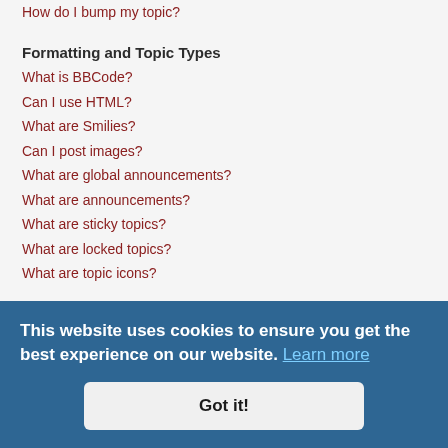How do I bump my topic?
Formatting and Topic Types
What is BBCode?
Can I use HTML?
What are Smilies?
Can I post images?
What are global announcements?
What are announcements?
What are sticky topics?
What are locked topics?
What are topic icons?
User Levels and Groups
What are Administrators?
What are Moderators?
What are usergroups?
Where are the usergroups and how do I join one?
How do I become a usergroup leader?
Why do some usergroups appear in a different colour?
What is a "Default usergroup"?
What is "The team" link?
Private Messaging
I cannot send private messages!
I keep getting unwanted private messages!
This website uses cookies to ensure you get the best experience on our website. Learn more Got it!